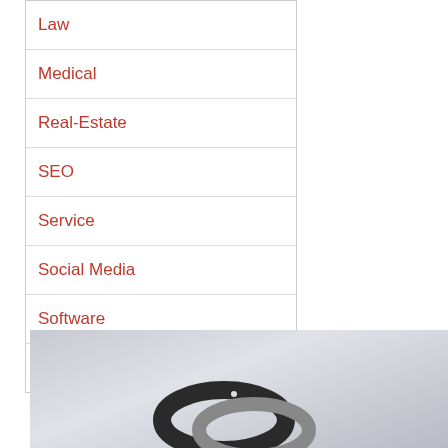Law
Medical
Real-Estate
SEO
Service
Social Media
Software
Uncategorized
[Figure (photo): Close-up photo of interlocked metallic rings/bands on a grey background, likely wedding bands or jewelry]